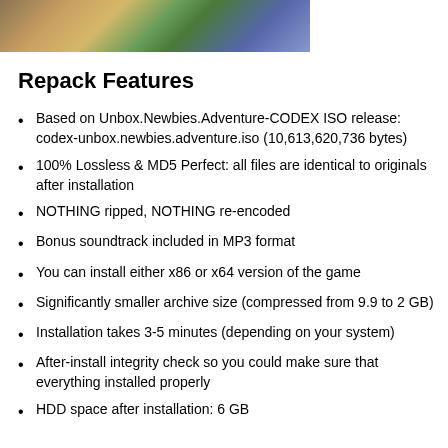[Figure (photo): Screenshot or game artwork image showing an outdoor adventure scene with terrain and characters]
Repack Features
Based on Unbox.Newbies.Adventure-CODEX ISO release: codex-unbox.newbies.adventure.iso (10,613,620,736 bytes)
100% Lossless & MD5 Perfect: all files are identical to originals after installation
NOTHING ripped, NOTHING re-encoded
Bonus soundtrack included in MP3 format
You can install either x86 or x64 version of the game
Significantly smaller archive size (compressed from 9.9 to 2 GB)
Installation takes 3-5 minutes (depending on your system)
After-install integrity check so you could make sure that everything installed properly
HDD space after installation: 6 GB